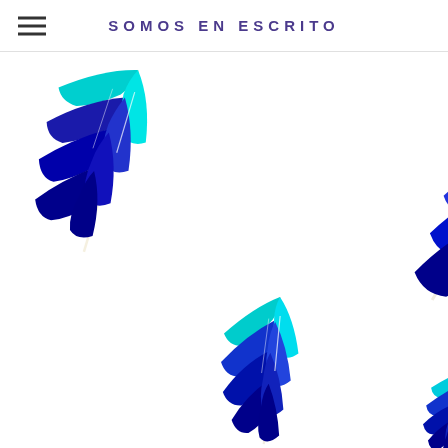SOMOS EN ESCRITO
[Figure (illustration): Decorative illustration of four blue and cyan feathers scattered on a white background, each showing gradient coloring from cyan tip to dark navy/black base with white quill lines, floating at various angles]